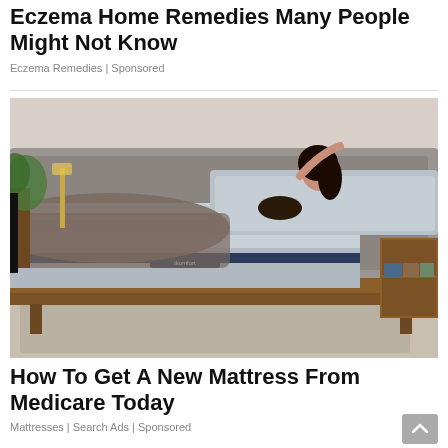Eczema Home Remedies Many People Might Not Know
Eczema Remedies | Sponsored
[Figure (photo): A woman lying on an adjustable Serta iComfort mattress on a wooden bed frame in a modern bedroom setting with plants and a nightstand.]
How To Get A New Mattress From Medicare Today
Mattresses | Search Ads | Sponsored